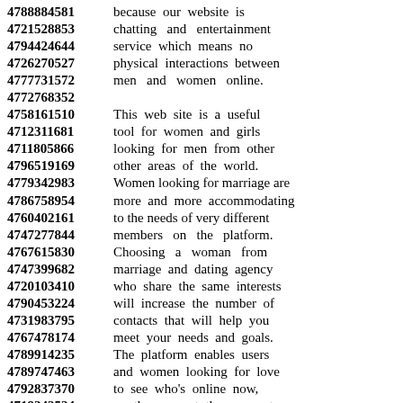4788884581 because our website is
4721528853 chatting and entertainment
4794424644 service which means no
4726270527 physical interactions between
4777731572 men and women online.
4772768352
4758161510 This web site is a useful
4712311681 tool for women and girls
4711805866 looking for men from other
4796519169 other areas of the world.
4779342983 Women looking for marriage are
4786758954 more and more accommodating
4760402161 to the needs of very different
4747277844 members on the platform.
4767615830 Choosing a woman from
4747399682 marriage and dating agency
4720103410 who share the same interests
4790453224 will increase the number of
4731983795 contacts that will help you
4767478174 meet your needs and goals.
4789914235 The platform enables users
4789747463 and women looking for love
4792837370 to see who's online now,
4719342534 on the page at the moment
4770876729 and you can send pictures,